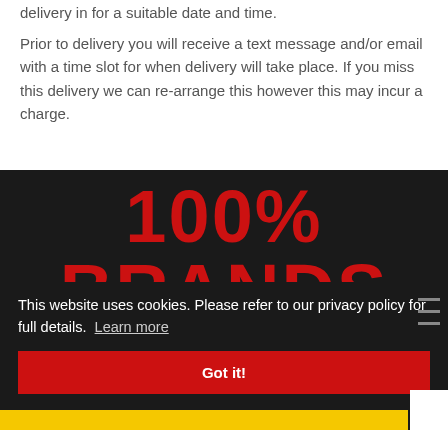delivery in for a suitable date and time.
Prior to delivery you will receive a text message and/or email with a time slot for when delivery will take place. If you miss this delivery we can re-arrange this however this may incur a charge.
[Figure (infographic): Dark background banner with large bold red text reading '100% BRANDS']
This website uses cookies. Please refer to our privacy policy for full details. Learn more
Got it!